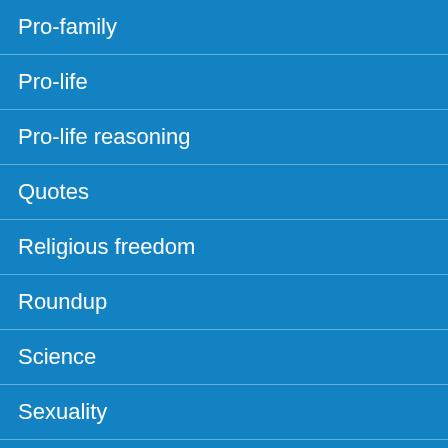Pro-family
Pro-life
Pro-life reasoning
Quotes
Religious freedom
Roundup
Science
Sexuality
Uncategorized
_Bible
Acts
Colossians